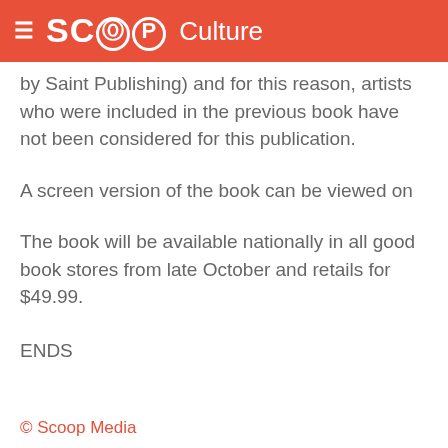SCOOP Culture
by Saint Publishing) and for this reason, artists who were included in the previous book have not been considered for this publication.
A screen version of the book can be viewed on
The book will be available nationally in all good book stores from late October and retails for $49.99.
ENDS
© Scoop Media